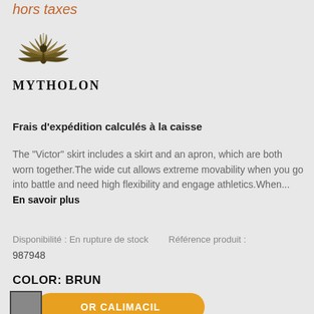hors taxes
[Figure (logo): Mytholon brand logo with stylized eagle/wings above text MYTHOLON]
Frais d'expédition calculés à la caisse
The "Victor" skirt includes a skirt and an apron, which are both worn together.The wide cut allows extreme movability when you go into battle and need high flexibility and engage athletics.When... En savoir plus
Disponibilité : En rupture de stock    Référence produit : 987948
COLOR: BRUN
OR CALIMACIL